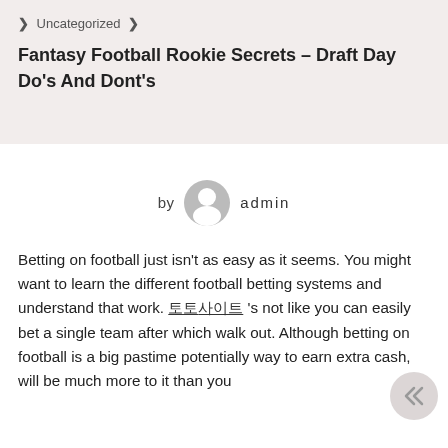> Uncategorized >
Fantasy Football Rookie Secrets – Draft Day Do's And Dont's
by admin
Betting on football just isn't as easy as it seems. You might want to learn the different football betting systems and understand that work. 토토사이트 's not like you can easily bet a single team after which walk out. Although betting on football is a big pastime potentially way to earn extra cash, will be much more to it than you